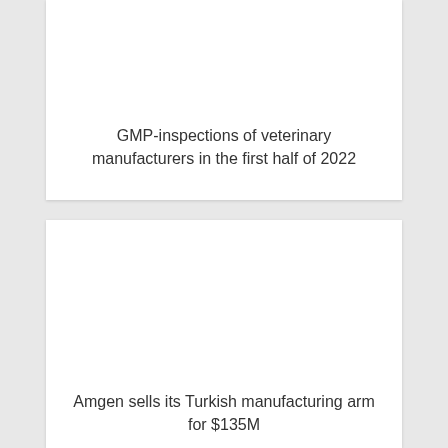GMP-inspections of veterinary manufacturers in the first half of 2022
Amgen sells its Turkish manufacturing arm for $135M